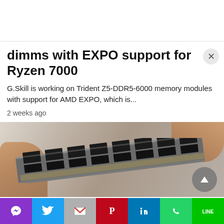dimms with EXPO support for Ryzen 7000
G.Skill is working on Trident Z5-DDR5-6000 memory modules with support for AMD EXPO, which is...
2 weeks ago
[Figure (photo): Close-up photo of hands holding a memory module (RAM stick), showing the PCB with chips visible]
Social share bar with Messenger, Twitter, Gmail, Pinterest, LinkedIn, WhatsApp, LINE buttons